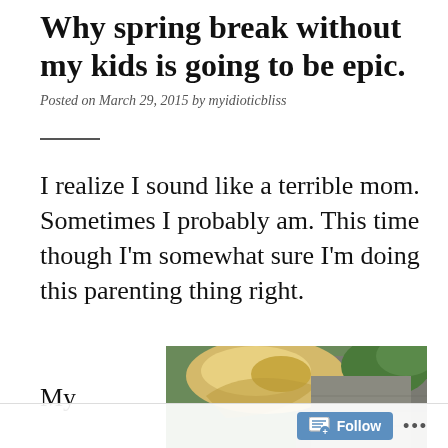Why spring break without my kids is going to be epic.
Posted on March 29, 2015 by myidioticbliss
I realize I sound like a terrible mom. Sometimes I probably am. This time though I'm somewhat sure I'm doing this parenting thing right.
My
[Figure (photo): Partial photo of a child with blonde hair outdoors, cropped at bottom of page]